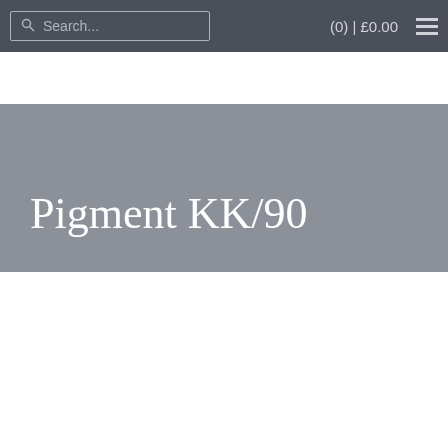Search... (0) | £0.00
Pigment KK/90
[Figure (photo): Close-up photograph of a product (likely a book or printed item) showing paper/card material with a black dashed tape strip and partial text reading 'TO SAY' in gold lettering at the bottom edge.]